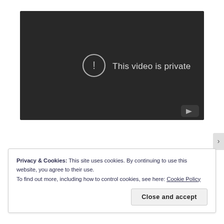[Figure (screenshot): YouTube video player showing 'This video is private' message with exclamation icon on dark background, YouTube logo button at bottom right]
Privacy & Cookies: This site uses cookies. By continuing to use this website, you agree to their use.
To find out more, including how to control cookies, see here: Cookie Policy
Close and accept